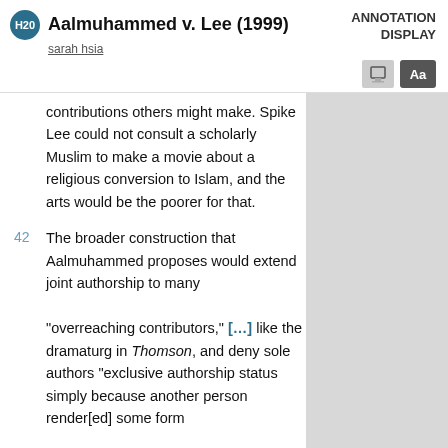Aalmuhammed v. Lee (1999)
sarah hsia
ANNOTATION DISPLAY
contributions others might make. Spike Lee could not consult a scholarly Muslim to make a movie about a religious conversion to Islam, and the arts would be the poorer for that.
42 The broader construction that Aalmuhammed proposes would extend joint authorship to many "overreaching contributors," [...] like the dramaturg in Thomson, and deny sole authors "exclusive authorship status simply because another person render[ed] some form of assistance." [...] Claimjumping by